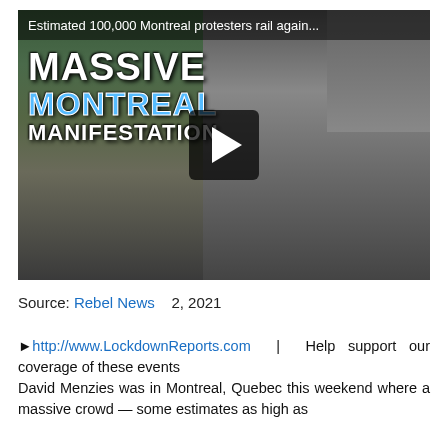[Figure (screenshot): Video thumbnail showing Montreal protest. Left side: large crowd of protesters with signs. Center: large play button overlay. Right side: male reporter holding a microphone. Overlay text reads 'MASSIVE MONTREAL MANIFESTATION'. Title bar at top reads 'Estimated 100,000 Montreal protesters rail again...']
Source: Rebel News    2, 2021
▶ http://www.LockdownReports.com  |  Help support our coverage of these events
David Menzies was in Montreal, Quebec this weekend where a massive crowd — some estimates as high as